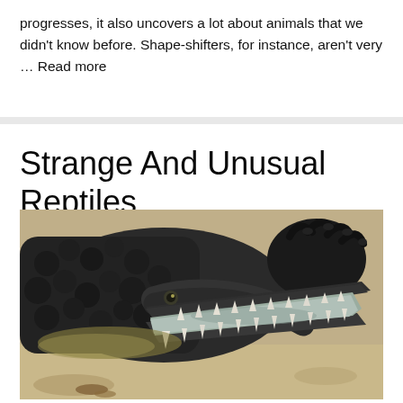progresses, it also uncovers a lot about animals that we didn't know before. Shape-shifters, for instance, aren't very … Read more
Strange And Unusual Reptiles
[Figure (photo): Close-up photograph of a gharial or crocodilian reptile with its long narrow jaws open, showing sharp teeth, resting on sandy ground.]